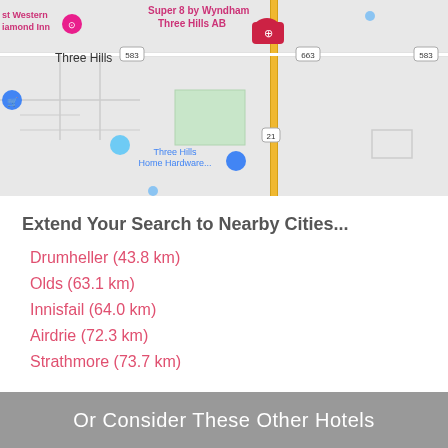[Figure (map): Google Maps view of Three Hills, AB showing Super 8 by Wyndham Three Hills AB hotel marker, roads including Highway 21, and nearby landmarks including Three Hills Home Hardware and Best Western Diamond Inn]
Extend Your Search to Nearby Cities...
Drumheller (43.8 km)
Olds (63.1 km)
Innisfail (64.0 km)
Airdrie (72.3 km)
Strathmore (73.7 km)
Or Consider These Other Hotels